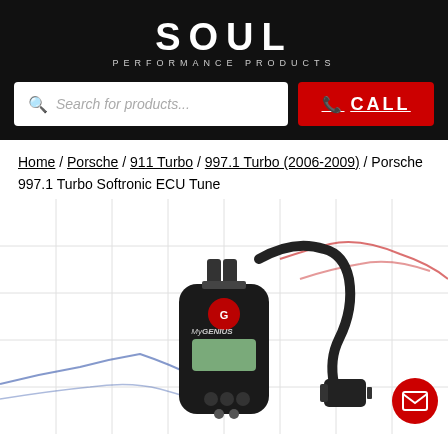SOUL PERFORMANCE PRODUCTS
Search for products...
CALL
Home / Porsche / 911 Turbo / 997.1 Turbo (2006-2009) / Porsche 997.1 Turbo Softronic ECU Tune
[Figure (photo): MyGenius ECU tune device with OBD connector cable, shown against a dyno chart background with blue and red performance curves]